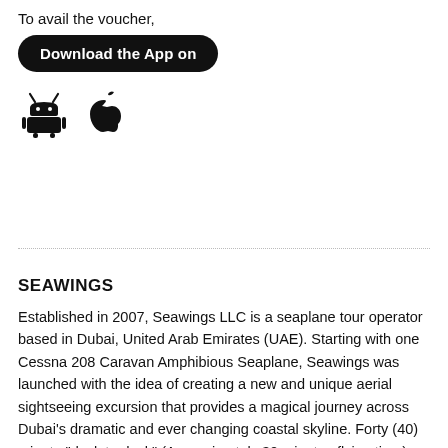To avail the voucher,
[Figure (other): Black rounded rectangle button with text 'Download the App on']
[Figure (other): Android robot icon and Apple logo icon side by side]
SEAWINGS
Established in 2007, Seawings LLC is a seaplane tour operator based in Dubai, United Arab Emirates (UAE). Starting with one Cessna 208 Caravan Amphibious Seaplane, Seawings was launched with the idea of creating a new and unique aerial sightseeing excursion that provides a magical journey across Dubai's dramatic and ever changing coastal skyline. Forty (40) minute "dock to dock" (Approximately 30 minutes flying time),